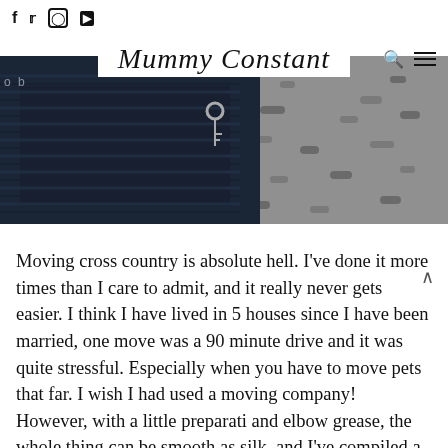f  twitter  instagram  youtube
Mummy Constant
[Figure (photo): Close-up photo of a person wearing a dark navy blue knit sweater, holding keys, with a grey gravel or concrete surface visible in the background on the right side.]
Moving cross country is absolute hell. I’ve done it more times than I care to admit, and it really never gets easier. I think I have lived in 5 houses since I have been married, one move was a 90 minute drive and it was quite stressful. Especially when you have to move pets that far. I wish I had used a moving company! However, with a little preparation and elbow grease, the whole thing can be smooth as silk, and I’ve compiled a list of all the bits and bobs you need to think about before embarking on this grand (traumatic)